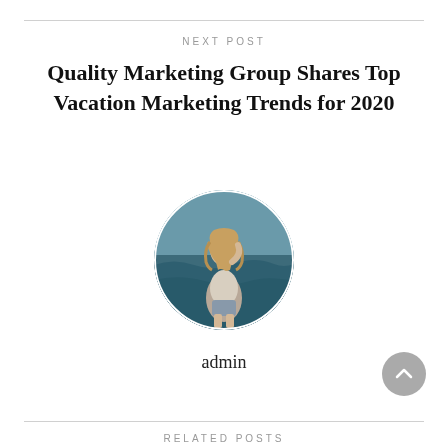NEXT POST
Quality Marketing Group Shares Top Vacation Marketing Trends for 2020
[Figure (photo): Circular avatar photo of a woman standing by the ocean/sea, wearing a light-colored top, with long wavy hair]
admin
RELATED POSTS